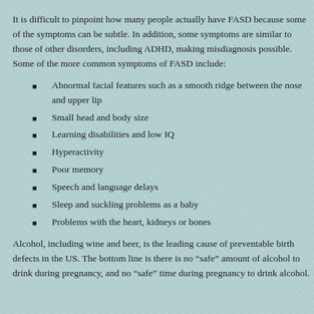It is difficult to pinpoint how many people actually have FASD because some of the symptoms can be subtle. In addition, some symptoms are similar to those of other disorders, including ADHD, making misdiagnosis possible. Some of the more common symptoms of FASD include:
Abnormal facial features such as a smooth ridge between the nose and upper lip
Small head and body size
Learning disabilities and low IQ
Hyperactivity
Poor memory
Speech and language delays
Sleep and suckling problems as a baby
Problems with the heart, kidneys or bones
Alcohol, including wine and beer, is the leading cause of preventable birth defects in the US. The bottom line is there is no “safe” amount of alcohol to drink during pregnancy, and no “safe” time during pregnancy to drink alcohol.